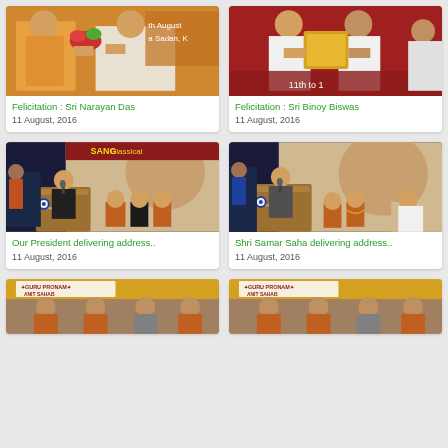[Figure (photo): Felicitation ceremony photo - Sri Narayan Das receiving flowers/award on stage with orange background banner reading 'th August Sadan K']
Felicitation : Sri Narayan Das
11 August, 2016
[Figure (photo): Felicitation ceremony photo - Sri Binoy Biswas receiving award plaque, banner reads '11th to 1']
Felicitation : Sri Binoy Biswas
11 August, 2016
[Figure (photo): President delivering address at podium with 'SANG Classical' banner and large portrait backdrop, audience seated in orange/red attire]
Our President delivering address..
11 August, 2016
[Figure (photo): Shri Samar Saha delivering address at podium with similar backdrop and audience]
Shri Samar Saha delivering address..
11 August, 2016
[Figure (photo): Guru Pronam event photo with banner reading 'GURU PRONAM ANIT SAHAB']
[Figure (photo): Guru Pronam event photo with banner reading 'GURU PRONAM ANIT SAHAB']